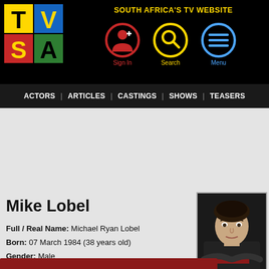[Figure (logo): TVSA logo with colorful TV/SA letters on black background]
SOUTH AFRICA'S TV WEBSITE
[Figure (infographic): Navigation icons: Sign In (red circle with person icon), Search (yellow circle with magnifying glass), Menu (blue circle with lines)]
ACTORS | ARTICLES | CASTINGS | SHOWS | TEASERS
Mike Lobel
Full / Real Name: Michael Ryan Lobel
Born: 07 March 1984 (38 years old)
Gender: Male
Rate:
[Figure (photo): Headshot of Mike Lobel, young man with dark hair, arms crossed, wearing dark t-shirt with red stripe]